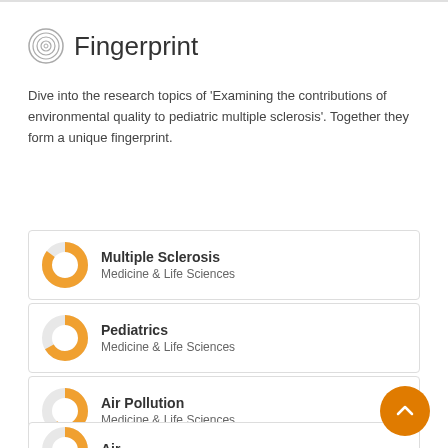Fingerprint
Dive into the research topics of 'Examining the contributions of environmental quality to pediatric multiple sclerosis'. Together they form a unique fingerprint.
Multiple Sclerosis
Medicine & Life Sciences
Pediatrics
Medicine & Life Sciences
Air Pollution
Medicine & Life Sciences
Air